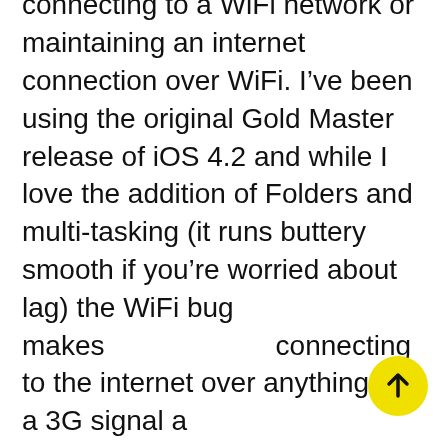The latest release of iOS was previously “delayed” due to a bug that prevented iPads from connecting to a WiFi network or maintaining an internet connection over WiFi. I’ve been using the original Gold Master release of iOS 4.2 and while I love the addition of Folders and multi-tasking (it runs buttery smooth if you’re worried about lag) the WiFi bug makes connecting to the internet over anything but a 3G signal a